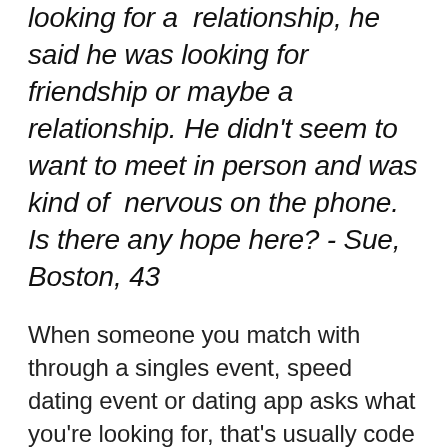looking for a relationship, he said he was looking for friendship or maybe a relationship. He didn't seem to want to meet in person and was kind of nervous on the phone. Is there any hope here? - Sue, Boston, 43
When someone you match with through a singles event, speed dating event or dating app asks what you're looking for, that's usually code for, "I'm not looking for anything serious or long-term."
They're posing that question so that you will respond in kind. That's how they initiate that conversation and get it out there that they are